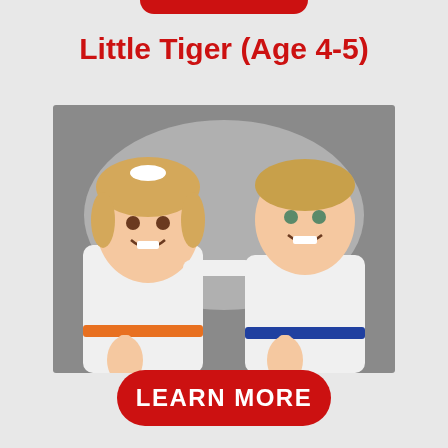[Figure (other): Red rounded rectangle button (partial, cropped at top of page)]
Little Tiger (Age 4-5)
[Figure (photo): Two young children (age 4-5) wearing white martial arts gi uniforms and colored belts, giving thumbs up and smiling, posed against a gray background]
LEARN MORE